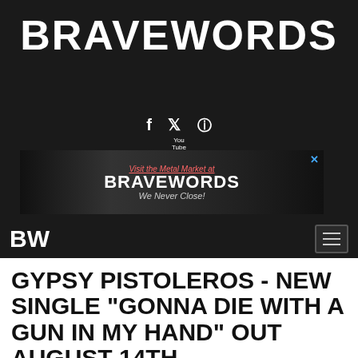BraveWords
[Figure (logo): BraveWords website advertisement banner showing the BraveWords logo with text 'Visit the Metal Market at BraveWords - We Never Close!']
GYPSY PISTOLEROS - NEW SINGLE "GONNA DIE WITH A GUN IN MY HAND" OUT AUGUST 14TH
August 2, 2021, a year ago
news
hard rock
gypsy pistoleros